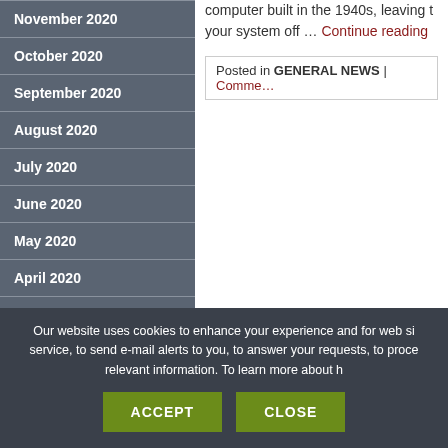November 2020
October 2020
September 2020
August 2020
July 2020
June 2020
May 2020
April 2020
March 2020
January 2020
October 2019
computer built in the 1940s, leaving your system off … Continue reading
Posted in GENERAL NEWS | Comme…
Our website uses cookies to enhance your experience and for web si service, to send e-mail alerts to you, to answer your requests, to proce relevant information. To learn more about h
ACCEPT
CLOSE